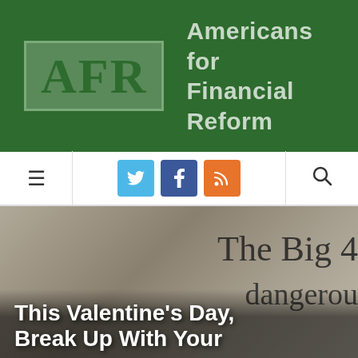[Figure (logo): Americans for Financial Reform (AFR) logo on dark green background. Square box with 'AFR' text and organization name 'Americans for Financial Reform' to the right.]
[Figure (infographic): Navigation bar with hamburger menu icon on left, Twitter, Facebook, and RSS social media icon buttons in center, and search icon on right.]
[Figure (photo): Hero image with blurred document showing 'The Big 4' and 'dangerous' text overlaid with bold white article title 'This Valentine's Day, Break Up With Your']